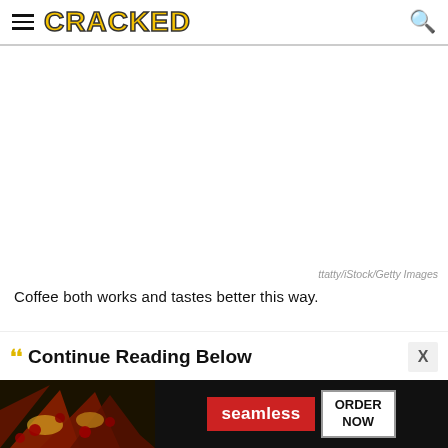CRACKED
[Figure (photo): White/blank image area representing a photo (not visible in screenshot), attributed to ttatty/iStock/Getty Images]
ttatty/iStock/Getty Images
Coffee both works and tastes better this way.
Continue Reading Below
[Figure (other): Seamless food delivery advertisement banner showing pizza and ORDER NOW button]